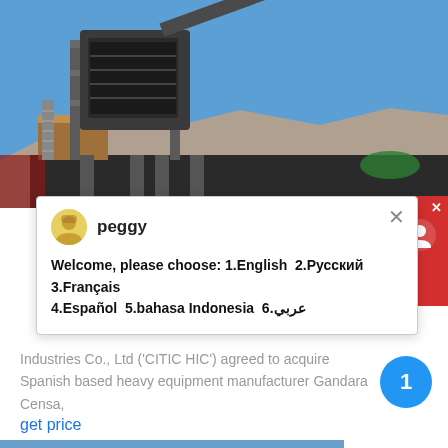[Figure (photo): Industrial mining/crushing equipment installation with blue sky background, metal structures and machinery on elevated platform]
[Figure (screenshot): Chat popup with avatar of 'peggy', welcome message in multiple languages, close button]
Industries Co., Ltd ('CITIC HIC') agreed to acquire Spanish based heavy equipment manufacturer Gandara Censa,
get price
[Figure (photo): Yellow heavy equipment/bulldozer against blue sky]